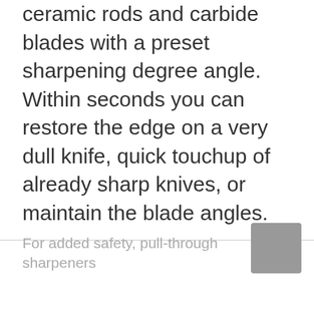ceramic rods and carbide blades with a preset sharpening degree angle. Within seconds you can restore the edge on a very dull knife, quick touchup of already sharp knives, or maintain the blade angles.
For added safety, pull-through sharpeners